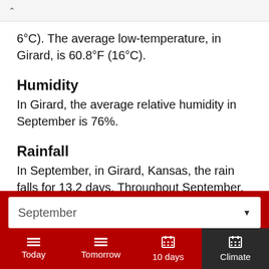6°C). The average low-temperature, in Girard, is 60.8°F (16°C).
Humidity
In Girard, the average relative humidity in September is 76%.
Rainfall
In September, in Girard, Kansas, the rain falls for 13.2 days. Throughout September, 2.76" (70mm) of precipitation is accumulated. In Girard, during the